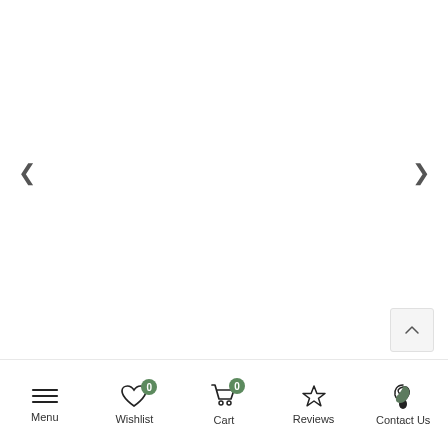[Figure (screenshot): Mobile e-commerce app screenshot showing a blank product image viewer with left and right navigation arrows, a scroll-to-top button, and a bottom navigation bar with Menu, Wishlist (badge 0), Cart (badge 0), Reviews, and Contact Us icons.]
Menu  Wishlist  Cart  Reviews  Contact Us